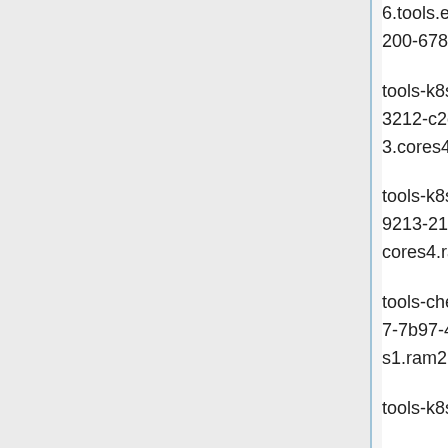6.tools.eqiad1.wikimedia.cloud 77b5704f-2378-4355-a200-678cb3ae5311 172.16.3.8 g3.cores4.ram8.disk20
tools-k8s-ingress-5.tools.eqiad1.wikimedia.cloud 910b3212-c2c6-4b73-a9de-089dcbdbc59b 172.16.4.106 g3.cores4.ram8.disk20
tools-k8s-ingress-4.tools.eqiad1.wikimedia.cloud 8e989213-2147-47d0-995e-41dff48a8769 172.16.6.245 g3.cores4.ram8.disk20
tools-checker-04.tools.eqiad1.wikimedia.cloud 7f2d3c37-7b97-43ef-9518-b2c7cf2da7b4 172.16.6.190 g3.cores1.ram2.disk20
tools-k8s-haproxy-